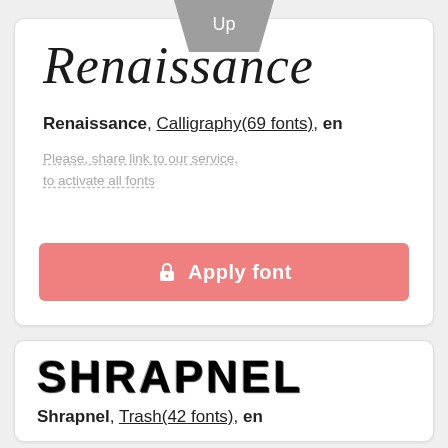Up
[Figure (other): Renaissance calligraphy font preview showing the word 'Renaissance' in ornate italic script]
Renaissance, Calligraphy(69 fonts), en
Please, share link to our service, to activate all fonts
🔒 Apply font
[Figure (other): Shrapnel trash/distressed font preview showing 'SHRAPNEL' in bold distressed uppercase letters]
Shrapnel, Trash(42 fonts), en